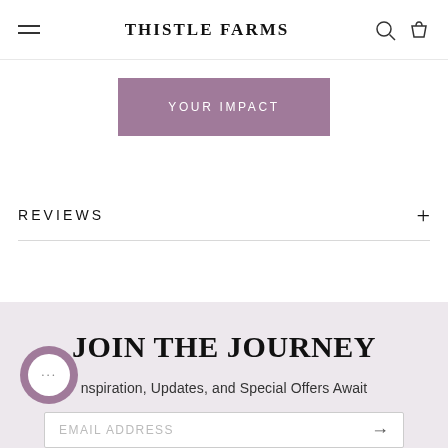THISTLE FARMS
YOUR IMPACT
REVIEWS
JOIN THE JOURNEY
Inspiration, Updates, and Special Offers Await
EMAIL ADDRESS